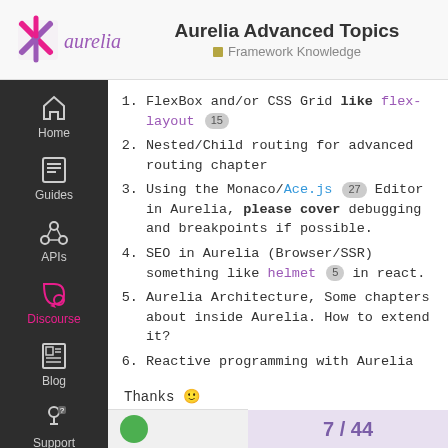Aurelia Advanced Topics — Framework Knowledge
FlexBox and/or CSS Grid like flex-layout [15]
Nested/Child routing for advanced routing chapter
Using the Monaco/Ace.js [27] Editor in Aurelia, please cover debugging and breakpoints if possible.
SEO in Aurelia (Browser/SSR) something like helmet [5] in react.
Aurelia Architecture, Some chapters about inside Aurelia. How to extend it?
Reactive programming with Aurelia
Thanks 🙂
7 / 44